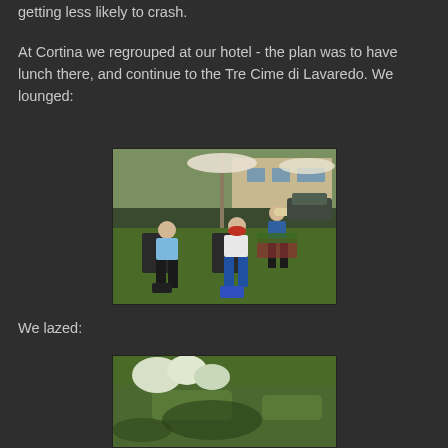getting less likely to crash.
At Cortina we regrouped at our hotel - the plan was to have lunch there, and continue to the Tre Cime di Lavaredo. We lounged:
[Figure (photo): Cyclists resting/lounging on chairs in a hotel garden. Two cyclists seated in garden chairs on grass, one in a light blue jersey, another in white and red. A third cyclist stands behind. Flowers, greenery, hotel building and parked car visible in background. White umbrella in center.]
We lazed:
[Figure (photo): Partial view of a garden/lawn area with green grass and some white flowers or bushes visible at the top. Bottom portion of the second photo showing the hotel garden.]